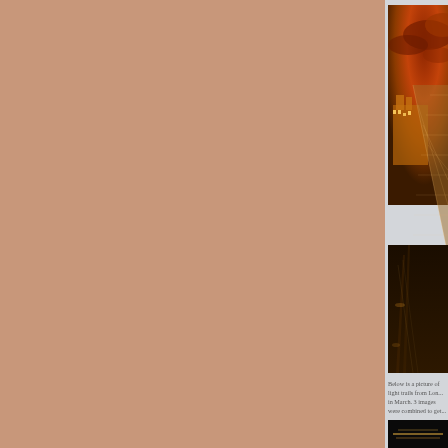[Figure (photo): Dramatic night photo of the Louvre Pyramid in Paris with an orange-tinted sky with clouds; the glass pyramid is illuminated with warm golden light against the classical Louvre museum building in the background. A long reflective walkway leads toward the pyramid.]
Below is a picture of light trails from Lon... in March. 3 images were combined to get...
[Figure (photo): Bottom portion of a photo showing light trails, partially visible at the bottom of the page.]